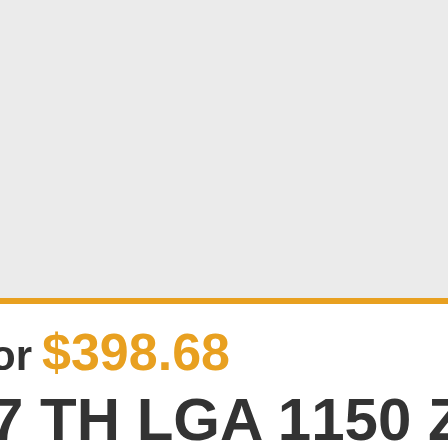[Figure (screenshot): Gray background product image area at top of page]
or $398.68
7 TH LGA 1150 Z9